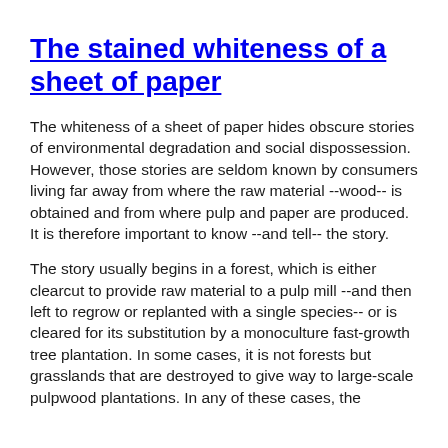The stained whiteness of a sheet of paper
The whiteness of a sheet of paper hides obscure stories of environmental degradation and social dispossession. However, those stories are seldom known by consumers living far away from where the raw material --wood-- is obtained and from where pulp and paper are produced. It is therefore important to know --and tell-- the story.
The story usually begins in a forest, which is either clearcut to provide raw material to a pulp mill --and then left to regrow or replanted with a single species-- or is cleared for its substitution by a monoculture fast-growth tree plantation. In some cases, it is not forests but grasslands that are destroyed to give way to large-scale pulpwood plantations. In any of these cases, the